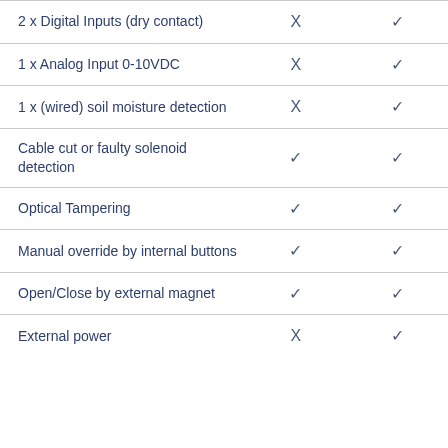| Feature | Col1 | Col2 |
| --- | --- | --- |
| 2 x Digital Inputs (dry contact) | X | ✓ |
| 1 x Analog Input 0-10VDC | X | ✓ |
| 1 x (wired) soil moisture detection | X | ✓ |
| Cable cut or faulty solenoid detection | ✓ | ✓ |
| Optical Tampering | ✓ | ✓ |
| Manual override by internal buttons | ✓ | ✓ |
| Open/Close by external magnet | ✓ | ✓ |
| External power | X | ✓ |